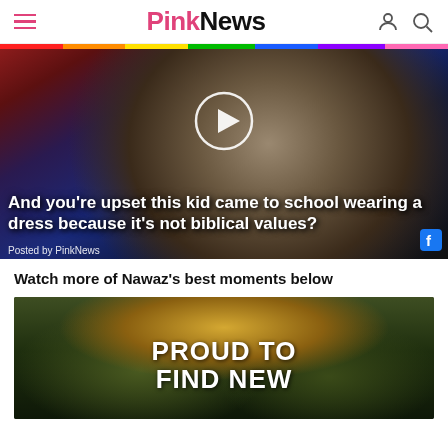PinkNews
[Figure (screenshot): Video thumbnail showing a man in a dark jacket, with overlaid caption text: 'And you're upset this kid came to school wearing a dress because it's not biblical values?'. Posted by PinkNews on Facebook.]
Watch more of Nawaz's best moments below
[Figure (screenshot): Second video thumbnail with forest/nature background and white bold text 'PROUD TO FIND NEW']